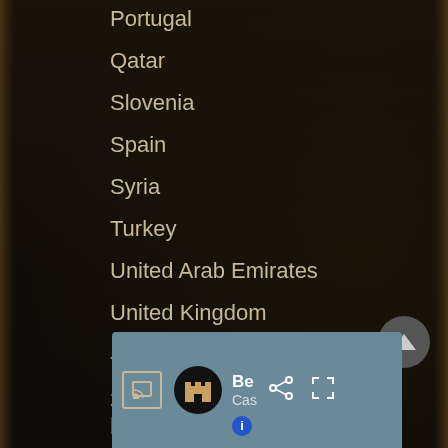Portugal
Qatar
Slovenia
Spain
Syria
Turkey
United Arab Emirates
United Kingdom
Year of visit
2010
Location
[Figure (screenshot): Bottom navigation bar with cast icon, castle logo circle, 'Be' title, 'Cas' subtitle, share icon, fullscreen icon, and info badge]